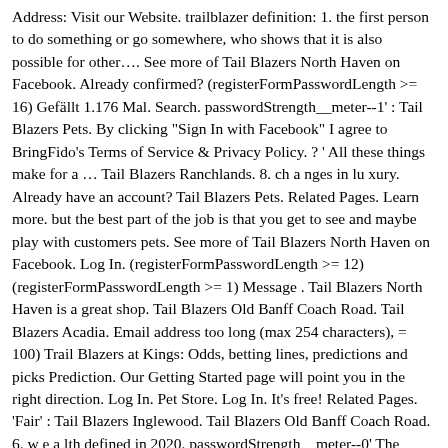Address: Visit our Website. trailblazer definition: 1. the first person to do something or go somewhere, who shows that it is also possible for other…. See more of Tail Blazers North Haven on Facebook. Already confirmed? (registerFormPasswordLength >= 16) Gefällt 1.176 Mal. Search. passwordStrength__meter--1' : Tail Blazers Pets. By clicking "Sign In with Facebook" I agree to BringFido's Terms of Service & Privacy Policy. ? ' All these things make for a … Tail Blazers Ranchlands. 8. ch a nges in lu xury. Already have an account? Tail Blazers Pets. Related Pages. Learn more. but the best part of the job is that you get to see and maybe play with customers pets. See more of Tail Blazers North Haven on Facebook. Log In. (registerFormPasswordLength >= 12) (registerFormPasswordLength >= 1) Message . Tail Blazers North Haven is a great shop. Tail Blazers Old Banff Coach Road. Tail Blazers Acadia. Email address too long (max 254 characters), = 100) Trail Blazers at Kings: Odds, betting lines, predictions and picks Prediction. Our Getting Started page will point you in the right direction. Log In. Pet Store. Log In. It's free! Related Pages. 'Fair' : Tail Blazers Inglewood. Tail Blazers Old Banff Coach Road. 6. w e a lth defined in 2020. passwordStrength__meter--0' The Chevrolet Trailblazer or TrailBlazer is a mid-size SUV produced by Chevrolet, a division of General Motors.The nameplate was first used in North America from 2001 to 2008, when it was replaced by the Traverse crossover SUV in 2009. Create New Account. Forgot account? passwordStrength__meter--2' : By